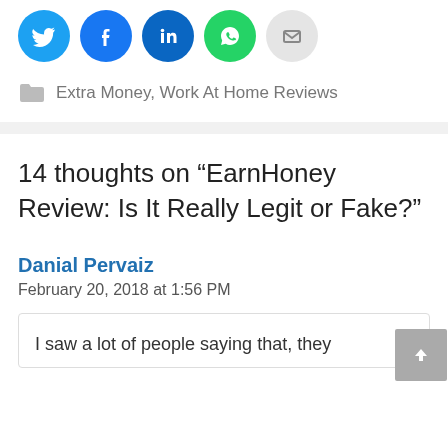[Figure (other): Social sharing icons: Twitter (blue), Facebook (blue), LinkedIn (dark blue), WhatsApp (green), Email (gray)]
Extra Money, Work At Home Reviews
14 thoughts on “EarnHoney Review: Is It Really Legit or Fake?”
Danial Pervaiz
February 20, 2018 at 1:56 PM
I saw a lot of people saying that, they